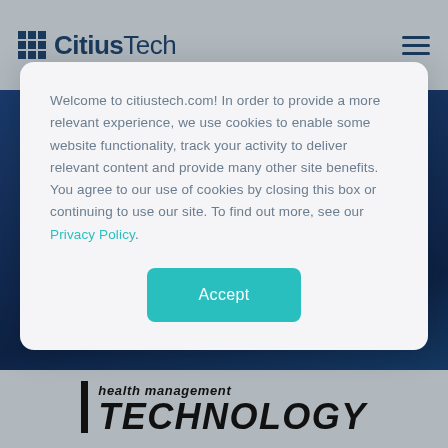[Figure (logo): CitiusTech logo with grid icon in top navigation bar]
Welcome to citiustech.com! In order to provide a more relevant experience, we use cookies to enable some website functionality, track your activity to deliver relevant content and provide many other site benefits. You agree to our use of cookies by closing this box or continuing to use our site. To find out more, see our Privacy Policy.
[Figure (screenshot): Accept button in teal/green color for cookie consent]